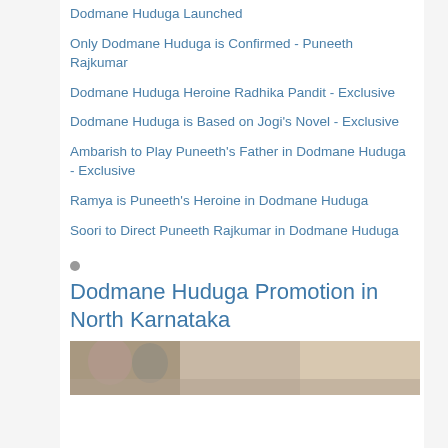Dodmane Huduga Launched
Only Dodmane Huduga is Confirmed - Puneeth Rajkumar
Dodmane Huduga Heroine Radhika Pandit - Exclusive
Dodmane Huduga is Based on Jogi's Novel - Exclusive
Ambarish to Play Puneeth's Father in Dodmane Huduga - Exclusive
Ramya is Puneeth's Heroine in Dodmane Huduga
Soori to Direct Puneeth Rajkumar in Dodmane Huduga
Dodmane Huduga Promotion in North Karnataka
[Figure (photo): Photo strip at the bottom of the page showing people, partially visible]